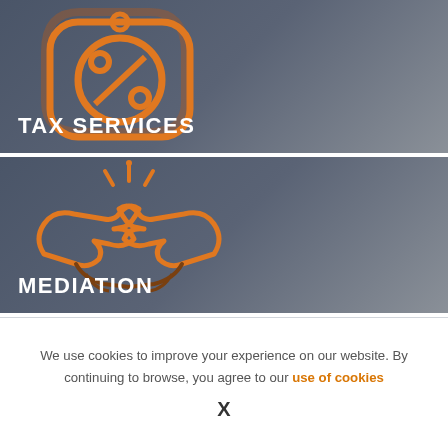[Figure (illustration): Tax Services service card with orange percent/tag icon on dark gray gradient background, white bold text 'TAX SERVICES']
[Figure (illustration): Mediation service card with orange handshake icon with sparkles on dark gray gradient background, white bold text 'MEDIATION']
[Figure (illustration): Partial third service card with light gray background, partially visible]
We use cookies to improve your experience on our website. By continuing to browse, you agree to our use of cookies
X